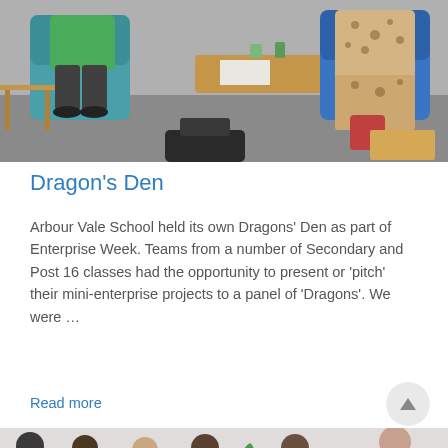[Figure (photo): Photo of several people seated in colorful chairs around a coffee table in a meeting room, with bags on the floor. Part of a Dragons' Den event at Arbour Vale School.]
Dragon’s Den
Arbour Vale School held its own Dragons’ Den as part of Enterprise Week. Teams from a number of Secondary and Post 16 classes had the opportunity to present or ‘pitch’ their mini-enterprise projects to a panel of ‘Dragons’. We were …
Read more
[Figure (photo): Photo of a group of young people and adults standing in a row in a room, partially visible at the bottom of the page.]